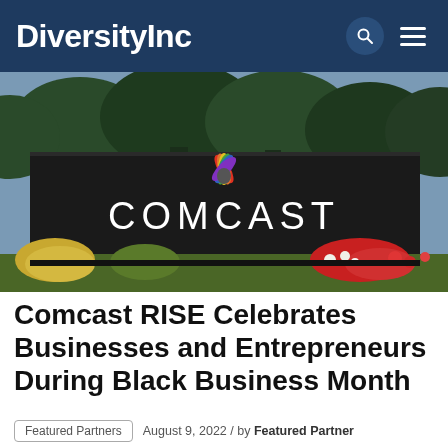DiversityInc
[Figure (photo): Outdoor photo of a Comcast corporate sign with the NBC peacock logo in colorful feathers above the COMCAST text. The sign is dark/black with white lettering, surrounded by landscaping including red and white flowers, green and golden ornamental grasses, and evergreen trees in the background.]
Comcast RISE Celebrates Businesses and Entrepreneurs During Black Business Month
Featured Partners | August 9, 2022 / by Featured Partner